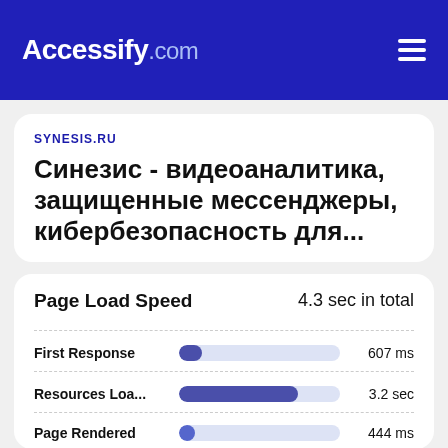Accessify.com
SYNESIS.RU
Синезис - видеоаналитика, защищенные мессенджеры, кибербезопасность для...
Page Load Speed
4.3 sec in total
First Response   607 ms
Resources Loa...   3.2 sec
Page Rendered   444 ms